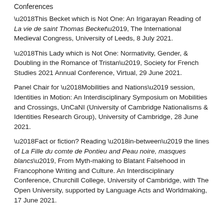Conferences
'This Becket which is Not One: An Irigarayan Reading of La vie de saint Thomas Becket', The International Medieval Congress, University of Leeds, 8 July 2021.
'This Lady which is Not One: Normativity, Gender, & Doubling in the Romance of Tristan', Society for French Studies 2021 Annual Conference, Virtual, 29 June 2021.
Panel Chair for 'Mobilities and Nations' session, Identities in Motion: An Interdisciplinary Symposium on Mobilities and Crossings, UnCaNI (University of Cambridge Nationalisms & Identities Research Group), University of Cambridge, 28 June 2021.
'Fact or fiction? Reading 'in-between' the lines of La Fille du comte de Pontieu and Peau noire, masques blancs', From Myth-making to Blatant Falsehood in Francophone Writing and Culture. An Interdisciplinary Conference, Churchill College, University of Cambridge, with The Open University, supported by Language Acts and Worldmaking, 17 June 2021.